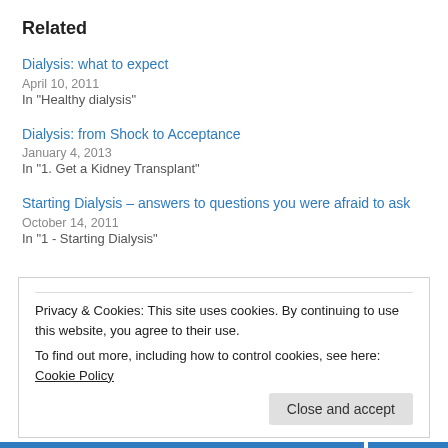Related
Dialysis: what to expect
April 10, 2011
In "Healthy dialysis"
Dialysis: from Shock to Acceptance
January 4, 2013
In "1. Get a Kidney Transplant"
Starting Dialysis – answers to questions you were afraid to ask
October 14, 2011
In "1 - Starting Dialysis"
Privacy & Cookies: This site uses cookies. By continuing to use this website, you agree to their use.
To find out more, including how to control cookies, see here: Cookie Policy
Close and accept